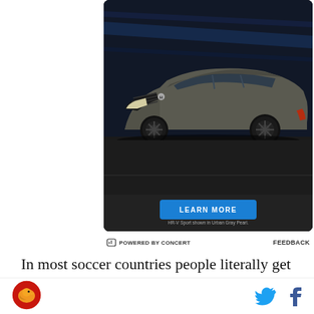[Figure (photo): Honda HR-V Sport SUV advertisement showing a gray crossover car in a dark tunnel setting with blue light streaks, with a blue 'LEARN MORE' button and caption 'HR-V Sport shown in Urban Gray Pearl.']
⊟ POWERED BY CONCERT    FEEDBACK
In most soccer countries people literally get to the
[Figure (logo): Awful Announcing website logo - circular badge with bird mascot]
[Figure (other): Twitter bird icon and Facebook f icon social media share buttons]